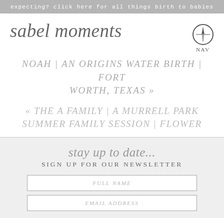expecting? click here for all things birth to babies
sabel moments
NAV
NOAH | AN ORIGINS WATER BIRTH | FORT WORTH, TEXAS »
« THE A FAMILY | A MURRELL PARK SUMMER FAMILY SESSION | FLOWER
stay up to date...
SIGN UP FOR OUR NEWSLETTER
FULL NAME
EMAIL ADDRESS